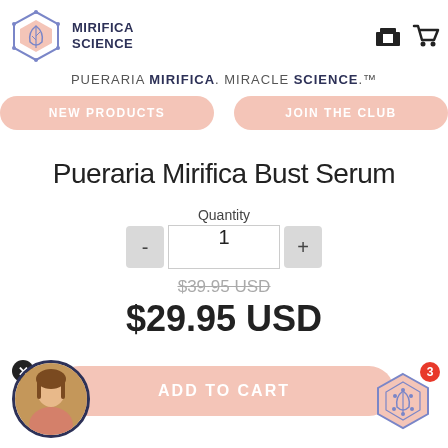[Figure (logo): Mirifica Science hexagonal logo with leaf icon and text 'MIRIFICA SCIENCE']
PUERARIA MIRIFICA. MIRACLE SCIENCE.™
NEW PRODUCTS
JOIN THE CLUB
Pueraria Mirifica Bust Serum
Quantity
1
$39.95 USD
$29.95 USD
ADD TO CART
[Figure (photo): Circular avatar photo of a woman at bottom left]
[Figure (logo): Mirifica Science hexagonal badge icon at bottom right with red badge showing number 3]